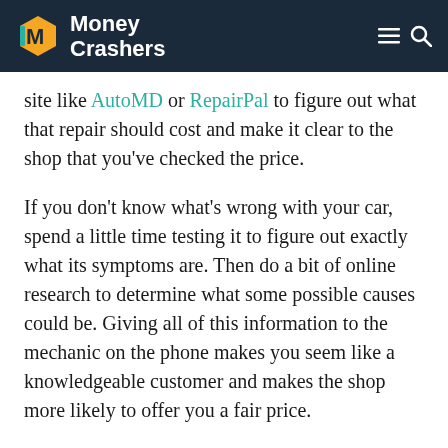Money Crashers
site like AutoMD or RepairPal to figure out what that repair should cost and make it clear to the shop that you’ve checked the price.
If you don’t know what’s wrong with your car, spend a little time testing it to figure out exactly what its symptoms are. Then do a bit of online research to determine what some possible causes could be. Giving all of this information to the mechanic on the phone makes you seem like a knowledgeable customer and makes the shop more likely to offer you a fair price.
Being informed about how your car works can save you money in other ways too. For one, it will allow